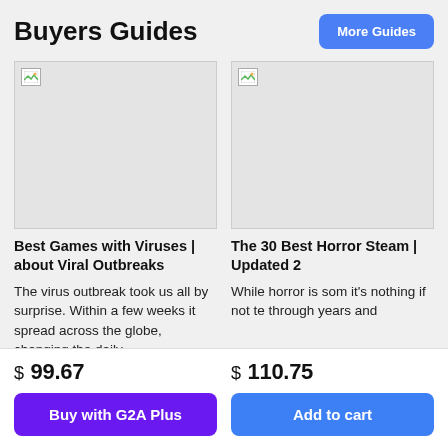Buyers Guides
More Guides
[Figure (photo): Placeholder image for Best Games with Viruses article]
Best Games with Viruses | about Viral Outbreaks
The virus outbreak took us all by surprise. Within a few weeks it spread across the globe, changing the daily...
[Figure (photo): Placeholder image for The 30 Best Horror on Steam article]
The 30 Best Horror Steam | Updated 2
While horror is som it's nothing if not te through years and
$ 99.67
$ 110.75
Buy with G2A Plus
Add to cart